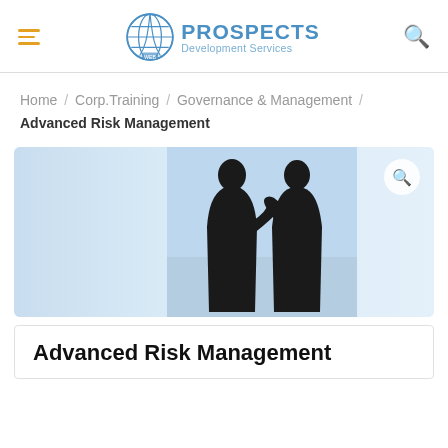PROSPECTS Development Services
Home / Corp.Training / Governance & Management / Advanced Risk Management
[Figure (photo): Silhouette of two businessmen in conversation against a light blue sky background, displayed on a light blue card]
Advanced Risk Management